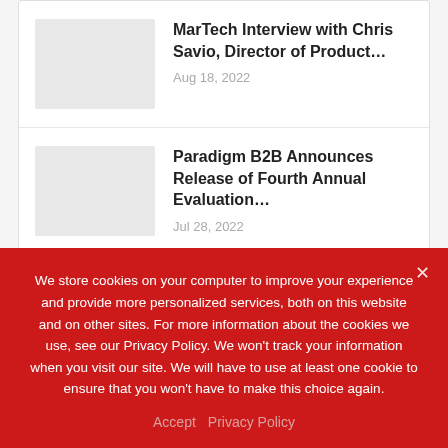[Figure (photo): Thumbnail placeholder image (light gray box)]
MarTech Interview with Chris Savio, Director of Product…
Aug 18, 2022
[Figure (photo): Thumbnail placeholder image (light gray box)]
Paradigm B2B Announces Release of Fourth Annual Evaluation…
Jul 28, 2022
Follow Us
We store cookies on your computer to improve your experience and provide more personalized services, both on this website and on other sites. For more information about the cookies we use, see our Privacy Policy. We won't track your information when you visit our site. We will have to use at least one cookie to ensure that you won't have to make this choice again.
Accept   Privacy Policy